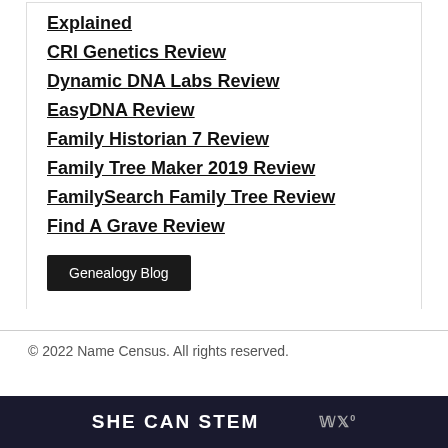Explained
CRI Genetics Review
Dynamic DNA Labs Review
EasyDNA Review
Family Historian 7 Review
Family Tree Maker 2019 Review
FamilySearch Family Tree Review
Find A Grave Review
Genealogy Blog
© 2022 Name Census. All rights reserved.
[Figure (logo): SHE CAN STEM banner logo with Mediavine logo on dark background]